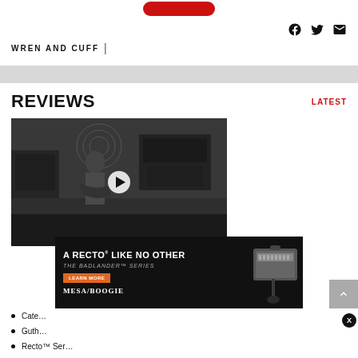[Figure (logo): Red rounded rectangle button at top center (subscribe/action button)]
[Figure (infographic): Social media icons: Facebook, Twitter, Email (envelope) in black]
WREN AND CUFF  |
[Figure (photo): Video thumbnail showing a man playing electric guitar in a room full of amplifiers, with a white play button overlay in the center]
REVIEWS
LATEST
[Figure (infographic): Mesa Boogie advertisement banner: 'A RECTO® LIKE NO OTHER / THE BADLANDER™ SERIES / LEARN MORE / MESA/BOOGIE' with amp image on right, black background]
Cate…
Guth…
Recto™ Ser…